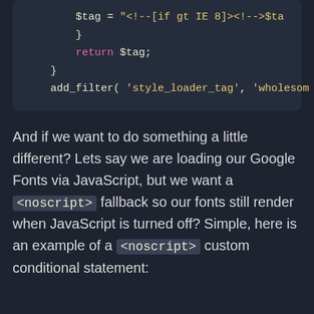[Figure (screenshot): Code block showing PHP code snippet with $tag assignment, closing brace, return $tag statement, and add_filter call with 'style_loader_tag' parameter on dark background]
And if we want to do something a little different? Lets say we are loading our Google Fonts via JavaScript, but we want a <noscript> fallback so our fonts still render when JavaScript is turned off? Simple, here is an example of a <noscript> custom conditional statement: